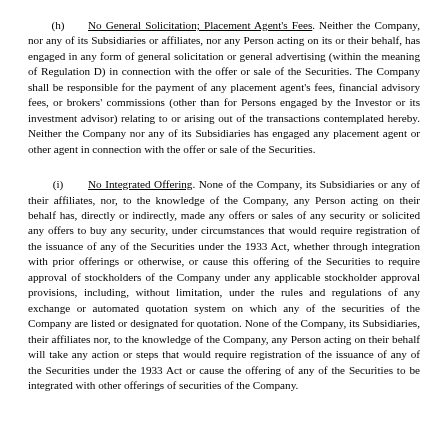(h) No General Solicitation; Placement Agent's Fees. Neither the Company, nor any of its Subsidiaries or affiliates, nor any Person acting on its or their behalf, has engaged in any form of general solicitation or general advertising (within the meaning of Regulation D) in connection with the offer or sale of the Securities. The Company shall be responsible for the payment of any placement agent's fees, financial advisory fees, or brokers' commissions (other than for Persons engaged by the Investor or its investment advisor) relating to or arising out of the transactions contemplated hereby. Neither the Company nor any of its Subsidiaries has engaged any placement agent or other agent in connection with the offer or sale of the Securities.
(i) No Integrated Offering. None of the Company, its Subsidiaries or any of their affiliates, nor, to the knowledge of the Company, any Person acting on their behalf has, directly or indirectly, made any offers or sales of any security or solicited any offers to buy any security, under circumstances that would require registration of the issuance of any of the Securities under the 1933 Act, whether through integration with prior offerings or otherwise, or cause this offering of the Securities to require approval of stockholders of the Company under any applicable stockholder approval provisions, including, without limitation, under the rules and regulations of any exchange or automated quotation system on which any of the securities of the Company are listed or designated for quotation. None of the Company, its Subsidiaries, their affiliates nor, to the knowledge of the Company, any Person acting on their behalf will take any action or steps that would require registration of the issuance of any of the Securities under the 1933 Act or cause the offering of any of the Securities to be integrated with other offerings of securities of the Company.